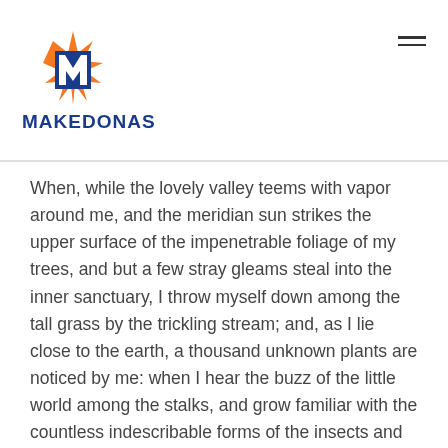[Figure (logo): Makedonas logo: orange starburst with blue M letter in center, and text MAKEDONAS below in bold blue capitals]
When, while the lovely valley teems with vapor around me, and the meridian sun strikes the upper surface of the impenetrable foliage of my trees, and but a few stray gleams steal into the inner sanctuary, I throw myself down among the tall grass by the trickling stream; and, as I lie close to the earth, a thousand unknown plants are noticed by me: when I hear the buzz of the little world among the stalks, and grow familiar with the countless indescribable forms of the insects and flies, then I feel the presence of